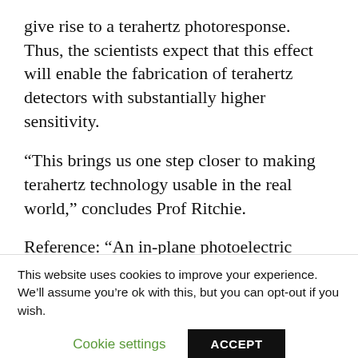give rise to a terahertz photoresponse. Thus, the scientists expect that this effect will enable the fabrication of terahertz detectors with substantially higher sensitivity.
“This brings us one step closer to making terahertz technology usable in the real world,” concludes Prof Ritchie.
Reference: “An in-plane photoelectric effect in two-dimensional electron systems for terahertz detection” by Wladislaw Michailow, Peter Spencer, Nikita W. Almond, Stephen J. Kindness, Robert Wallis, Thomas A. Mitchell, Riccardo
This website uses cookies to improve your experience. We’ll assume you’re ok with this, but you can opt-out if you wish.
Cookie settings   ACCEPT